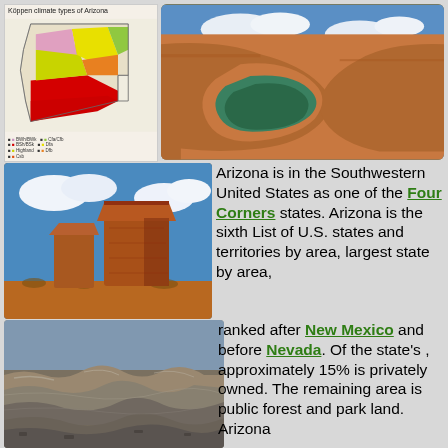[Figure (map): Köppen climate types of Arizona map showing color-coded climate zones with legend]
[Figure (photo): Aerial view of Horseshoe Bend - Colorado River meander through red rock canyon]
[Figure (photo): Monument Valley with large sandstone butte under blue sky with clouds]
Arizona is in the Southwestern United States as one of the Four Corners states. Arizona is the sixth List of U.S. states and territories by area, largest state by area, ranked after New Mexico and before Nevada. Of the state's , approximately 15% is privately owned. The remaining area is public forest and park land. Arizona
[Figure (photo): Badlands / eroded rock formations (Painted Desert or similar) with layered sedimentary rock]